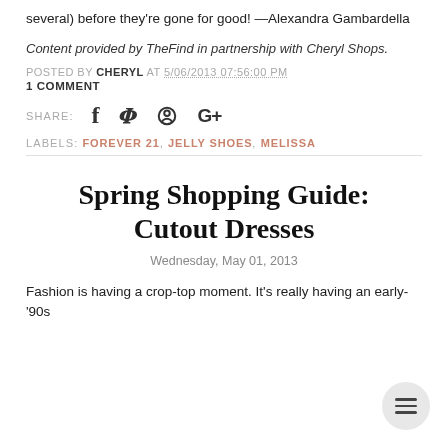several) before they're gone for good! —Alexandra Gambardella
Content provided by TheFind in partnership with Cheryl Shops.
POSTED BY CHERYL AT 5/06/2013 07:56:00 PM
1 COMMENT
SHARE: (social icons: Facebook, Twitter, Pinterest, Google+)
LABELS: FOREVER 21, JELLY SHOES, MELISSA
Spring Shopping Guide: Cutout Dresses
Wednesday, May 01, 2013
Fashion is having a crop-top moment. It's really having an early-'90s